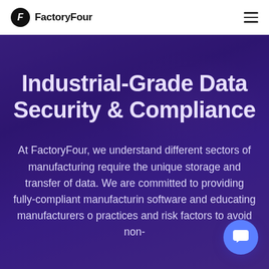FactoryFour
Industrial-Grade Data Security & Compliance
At FactoryFour, we understand different sectors of manufacturing require the unique storage and transfer of data. We are committed to providing fully-compliant manufacturing software and educating manufacturers on practices and risk factors to avoid non-